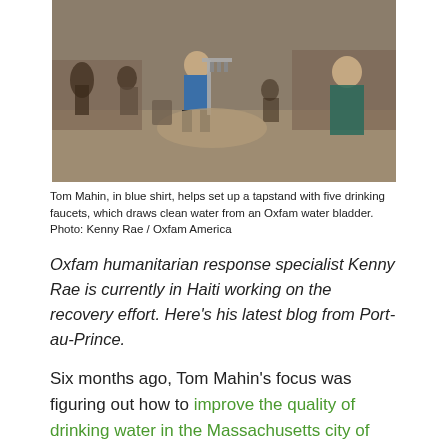[Figure (photo): Outdoor scene showing Tom Mahin in a blue shirt helping set up a tapstand with several people around, dusty ground, makeshift structures in background.]
Tom Mahin, in blue shirt, helps set up a tapstand with five drinking faucets, which draws clean water from an Oxfam water bladder. Photo: Kenny Rae / Oxfam America
Oxfam humanitarian response specialist Kenny Rae is currently in Haiti working on the recovery effort. Here's his latest blog from Port-au-Prince.
Six months ago, Tom Mahin's focus was figuring out how to improve the quality of drinking water in the Massachusetts city of Gloucester, whose 30,000 residents had been told to boil their tap